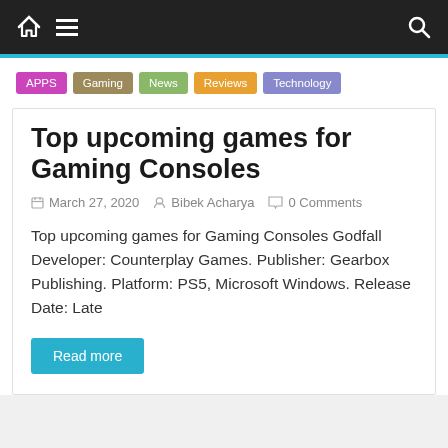Navigation bar with home, menu, and search icons
APPS
Gaming
News
Reviews
Technology
Top upcoming games for Gaming Consoles
March 27, 2020   Bibek Acharya   0 Comments
Top upcoming games for Gaming Consoles Godfall Developer: Counterplay Games. Publisher: Gearbox Publishing. Platform: PS5, Microsoft Windows. Release Date: Late
Read more
← Previous